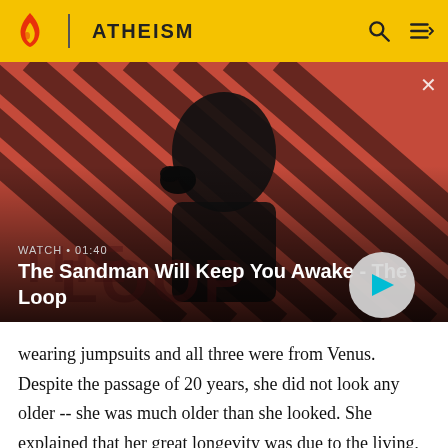ATHEISM
[Figure (screenshot): Video thumbnail showing a dark-cloaked figure with a raven on shoulder against a red and dark diagonal stripe background. Text overlay reads: WATCH • 01:40 / The Sandman Will Keep You Awake - The Loop. A play button circle is on the right.]
wearing jumpsuits and all three were from Venus. Despite the passage of 20 years, she did not look any older -- she was much older than she looked. She explained that her great longevity was due to the living, thinking, and eating habits of her people.